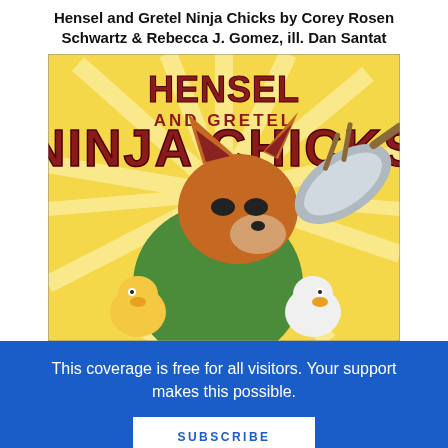Hensel and Gretel Ninja Chicks by Corey Rosen Schwartz & Rebecca J. Gomez, ill. Dan Santat
[Figure (illustration): Book cover of 'Hensel and Gretel Ninja Chicks' showing a cartoon fox in a green shirt being hit by a wok/pan, with two small chicks visible, on a yellow sunburst background. Title text 'HENSEL AND GRETEL NINJA CHICKS' in large red letters at the top.]
This coverage is free for all visitors. Your support makes this possible.
SUBSCRIBE